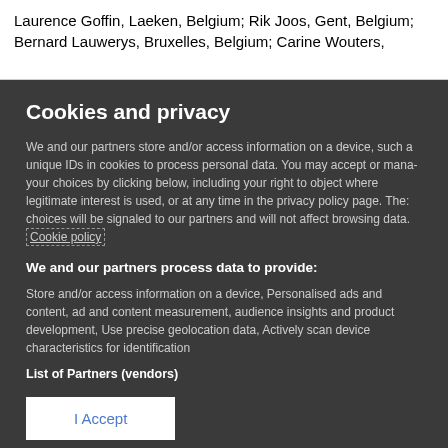Laurence Goffin, Laeken, Belgium; Rik Joos, Gent, Belgium; Bernard Lauwerys, Bruxelles, Belgium; Carine Wouters,
Cookies and privacy
We and our partners store and/or access information on a device, such as unique IDs in cookies to process personal data. You may accept or manage your choices by clicking below, including your right to object where legitimate interest is used, or at any time in the privacy policy page. These choices will be signaled to our partners and will not affect browsing data. Cookie policy
We and our partners process data to provide:
Store and/or access information on a device, Personalised ads and content, ad and content measurement, audience insights and product development, Use precise geolocation data, Actively scan device characteristics for identification
List of Partners (vendors)
I Accept